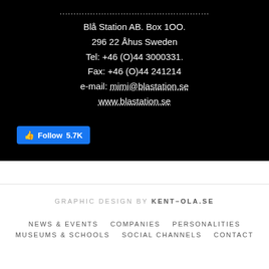...................................................
Blå Station AB. Box 1OO.
296 22 Åhus Sweden
Tel: +46 (O)44 3000331.
Fax: +46 (O)44 241214
e-mail: mimi@blastation.se
www.blastation.se
[Figure (screenshot): Facebook Follow button showing 5.7K followers]
GRAPHIC DESIGN BY KENT–OLA.SE
NEWS & EVENTS   COMPANIES   PERSONALITIES   MUSEUMS & SCHOOLS   SOCIAL CHANNELS   CONTACT